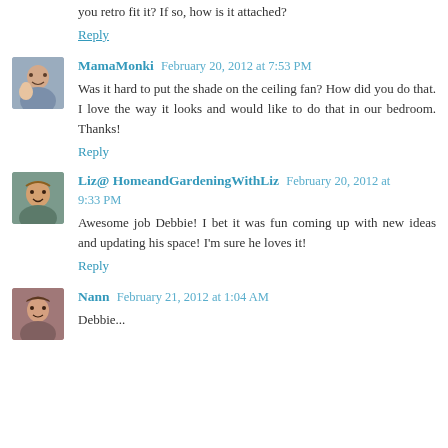you retro fit it? If so, how is it attached?
Reply
MamaMonki  February 20, 2012 at 7:53 PM
Was it hard to put the shade on the ceiling fan? How did you do that. I love the way it looks and would like to do that in our bedroom. Thanks!
Reply
Liz@ HomeandGardeningWithLiz  February 20, 2012 at 9:33 PM
Awesome job Debbie! I bet it was fun coming up with new ideas and updating his space! I'm sure he loves it!
Reply
Nann  February 21, 2012 at 1:04 AM
Debbie...